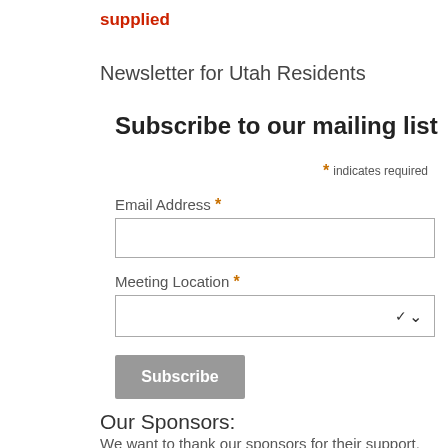supplied
Newsletter for Utah Residents
Subscribe to our mailing list
* indicates required
Email Address *
Meeting Location *
Subscribe
Our Sponsors:
We want to thank our sponsors for their support.